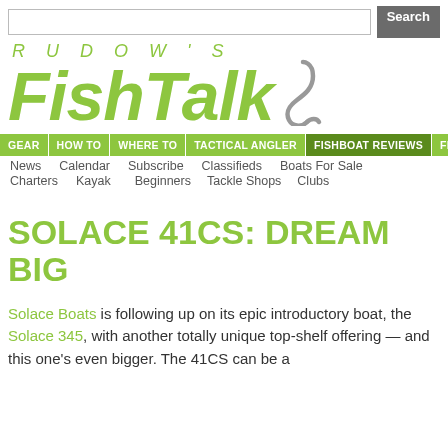Rudow's FishTalk — website header with search bar, logo, navigation bar, and secondary navigation links
SOLACE 41CS: DREAM BIG
Solace Boats is following up on its epic introductory boat, the Solace 345, with another totally unique top-shelf offering — and this one's even bigger. The 41CS can be a